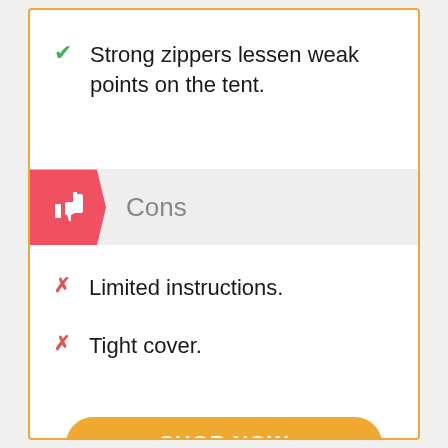Strong zippers lessen weak points on the tent.
Cons
Limited instructions.
Tight cover.
SHOP NOW